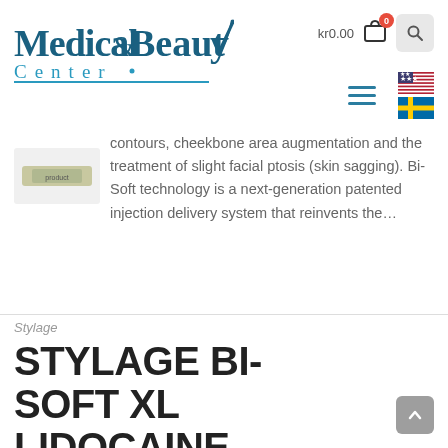[Figure (logo): Medical & Beauty Center logo with stylized typography and teal/navy colors]
kr0.00
contours, cheekbone area augmentation and the treatment of slight facial ptosis (skin sagging). Bi-Soft technology is a next-generation patented injection delivery system that reinvents the…
Stylage
STYLAGE BI-SOFT XL LIDOCAINE